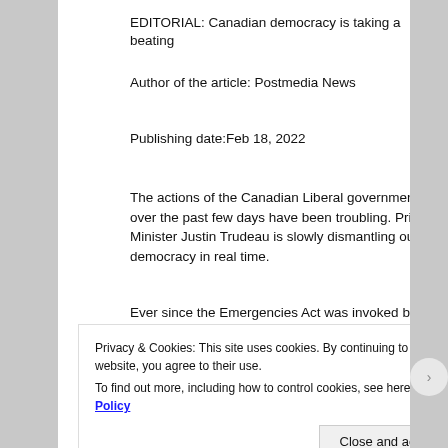EDITORIAL: Canadian democracy is taking a beating
Author of the article: Postmedia News
Publishing date:Feb 18, 2022
The actions of the Canadian Liberal government over the past few days have been troubling. Prime Minister Justin Trudeau is slowly dismantling our democracy in real time.
Ever since the Emergencies Act was invoked by Trudeau a few days ago, we have witnessed a shock and awe campaign of extreme measures. This has taken people by surprise.
Privacy & Cookies: This site uses cookies. By continuing to use this website, you agree to their use.
To find out more, including how to control cookies, see here: Cookie Policy
Close and accept
everything you need.